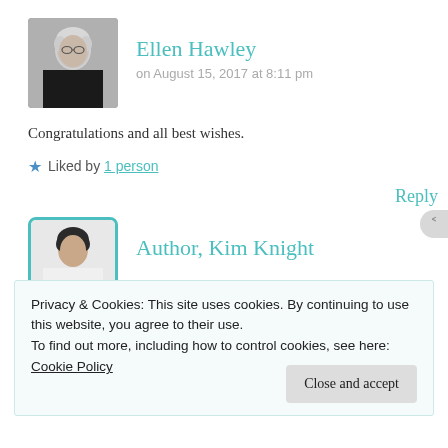[Figure (photo): Avatar photo of Ellen Hawley, older woman with short grey/white hair and dark turtleneck]
Ellen Hawley
on August 15, 2017 at 8:11 pm
Congratulations and all best wishes.
★ Liked by 1 person
Reply
[Figure (photo): Avatar photo of Author Kim Knight, person with dark hair]
Author, Kim Knight
Privacy & Cookies: This site uses cookies. By continuing to use this website, you agree to their use.
To find out more, including how to control cookies, see here:
Cookie Policy
Close and accept